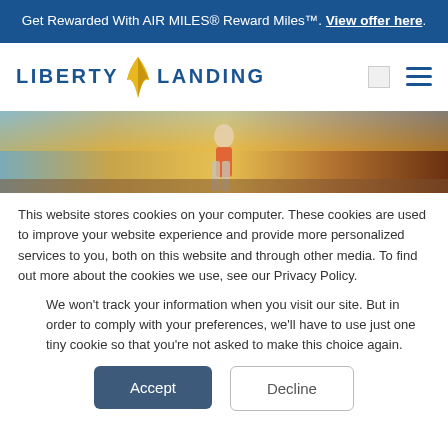Get Rewarded With AIR MILES® Reward Miles™. View offer here.
[Figure (logo): Liberty Landing logo with blue text and gold wing mark]
[Figure (photo): Hero image of person walking outdoors in warm sunset light]
This website stores cookies on your computer. These cookies are used to improve your website experience and provide more personalized services to you, both on this website and through other media. To find out more about the cookies we use, see our Privacy Policy.
We won't track your information when you visit our site. But in order to comply with your preferences, we'll have to use just one tiny cookie so that you're not asked to make this choice again.